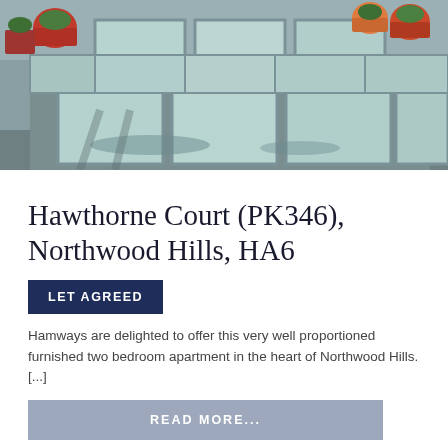[Figure (photo): Exterior courtyard area with large pale blue-green paving slabs and potted plants/planters in foreground and background. Wet pavement visible.]
Hawthorne Court (PK346), Northwood Hills, HA6
LET AGREED
Hamways are delighted to offer this very well proportioned furnished two bedroom apartment in the heart of Northwood Hills. [...]
READ MORE...
Flat  2  1  1
£1,300 pcm